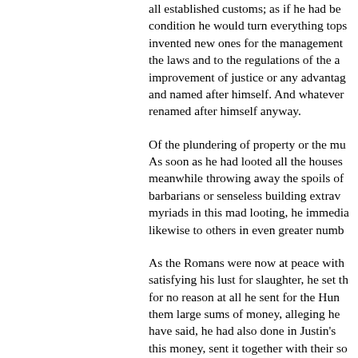all established customs; as if he had be condition he would turn everything tops invented new ones for the management the laws and to the regulations of the a improvement of justice or any advantag and named after himself. And whatever renamed after himself anyway.
Of the plundering of property or the mu As soon as he had looted all the houses meanwhile throwing away the spoils of barbarians or senseless building extrav myriads in this mad looting, he immedia likewise to others in even greater numb
As the Romans were now at peace with satisfying his lust for slaughter, he set th for no reason at all he sent for the Hun them large sums of money, alleging he have said, he had also done in Justin's this money, sent it together with their so